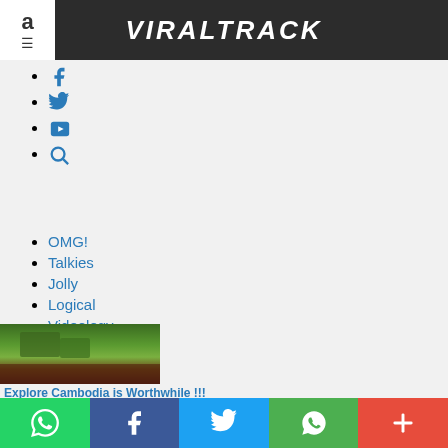VIRALTRACK
Facebook icon
Twitter icon
YouTube icon
Search icon
OMG!
Talkies
Jolly
Logical
Videology
[Figure (photo): Thumbnail image of Cambodia landscape with greenery and water]
Explore Cambodia is Worthwhile !!!
[Figure (photo): Thumbnail image of The Oxford English Dictionary books on shelf]
Share bar with WhatsApp, Facebook, Twitter, WeChat, More buttons